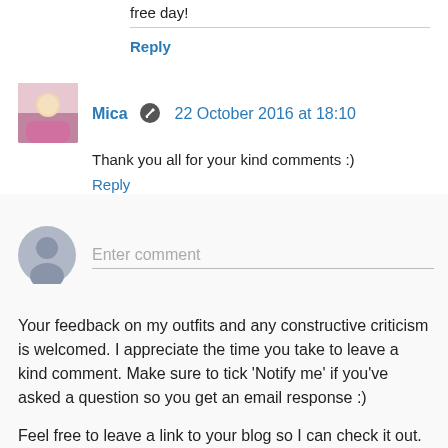free day!
Reply
Mica  22 October 2016 at 18:10
Thank you all for your kind comments :)
Reply
Enter comment
Your feedback on my outfits and any constructive criticism is welcomed. I appreciate the time you take to leave a kind comment. Make sure to tick 'Notify me' if you've asked a question so you get an email response :)
Feel free to leave a link to your blog so I can check it out. "Follow me" or "follow for follow"